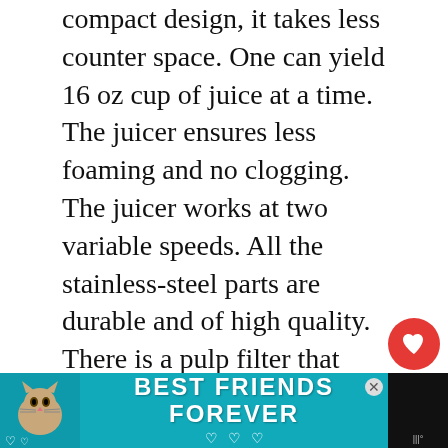compact design, it takes less counter space. One can yield 16 oz cup of juice at a time. The juicer ensures less foaming and no clogging. The juicer works at two variable speeds. All the stainless-steel parts are durable and of high quality. There is a pulp filter that extracts all the pulp and provides fresh juice.
The juicer is quite simple to clean, as its parts get detached, and all are dishwasher safe. The feed chute is extra-large, so you don't have to cut the fruits and vegetables in halves. The safety locking ensures no spilling of juice when in use. Finally, there is the auto shut down phenomenon in case of an overheat or
[Figure (other): Advertisement banner at the bottom: teal/cyan background with a cat photo on left, bold white text 'BEST FRIENDS FOREVER' in center with heart icons, and a dark right panel. A close button X is visible.]